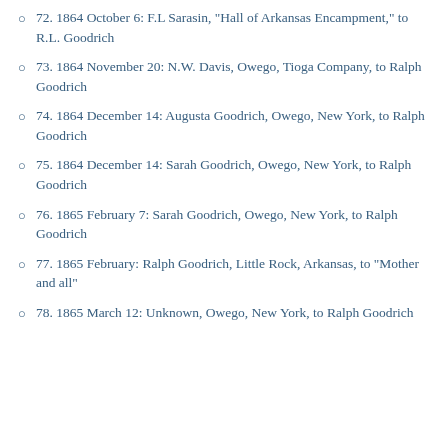72. 1864 October 6: F.L Sarasin, "Hall of Arkansas Encampment," to R.L. Goodrich
73. 1864 November 20: N.W. Davis, Owego, Tioga Company, to Ralph Goodrich
74. 1864 December 14: Augusta Goodrich, Owego, New York, to Ralph Goodrich
75. 1864 December 14: Sarah Goodrich, Owego, New York, to Ralph Goodrich
76. 1865 February 7: Sarah Goodrich, Owego, New York, to Ralph Goodrich
77. 1865 February: Ralph Goodrich, Little Rock, Arkansas, to "Mother and all"
78. 1865 March 12: Unknown, Owego, New York, to Ralph Goodrich